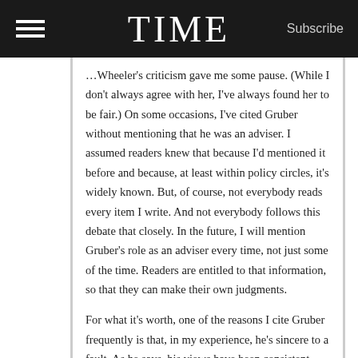TIME   Subscribe
…Wheeler's criticism gave me some pause. (While I don't always agree with her, I've always found her to be fair.) On some occasions, I've cited Gruber without mentioning that he was an adviser. I assumed readers knew that because I'd mentioned it before and because, at least within policy circles, it's widely known. But, of course, not everybody reads every item I write. And not everybody follows this debate that closely. In the future, I will mention Gruber's role as an adviser every time, not just some of the time. Readers are entitled to that information, so that they can make their own judgments.
For what it's worth, one of the reasons I cite Gruber frequently is that, in my experience, he's sincere to a fault. As he says, his views have been consistent, going back many years. And, more than most experts I know, he is willing to call out friends and allies when his projections suggest they are wrong. That doesn't